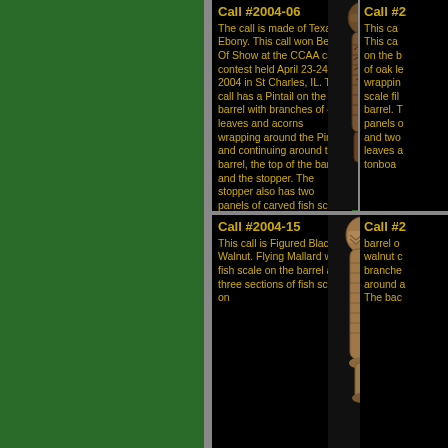Call #2004-06
The call is made of Texas Ebony. This call won Best Of Show at the CCAA call contest held April 23-24, 2004 in St Charles, IL. The call has a Pintail on the barrel with branches of oak leaves and acorns wrapping around the Pintail and continuing around the barrel, the top of the barrel and the stopper. The stopper also has two panels of carved fish scale. Grass texture is used to fill in the background. The toneboard is bloodwood.
[Figure (photo): Carved duck call #2004-06 made of Texas Ebony with Pintail and oak leaf design]
Call #20...
This ca... This ca... on the b... of oak le... wrappin... scale fil... barrel. T... panels o... and two... leaves a... tonboa...
Call #2004-15
This call is Figured Black Walnut. Flying Mallard with fish scale on the barrel and three sections of fish scale on
[Figure (photo): Carved duck call #2004-15 made of Figured Black Walnut with Flying Mallard design]
Call #20...
barrel o... walnut c... branche... around a... The bac...